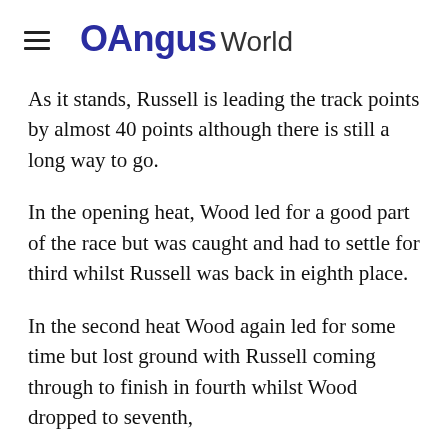OAngus World
As it stands, Russell is leading the track points by almost 40 points although there is still a long way to go.
In the opening heat, Wood led for a good part of the race but was caught and had to settle for third whilst Russell was back in eighth place.
In the second heat Wood again led for some time but lost ground with Russell coming through to finish in fourth whilst Wood dropped to seventh,
The final was a fast race with Wood again the early leader but again he was caught and dropped down the order as he was sent wide.